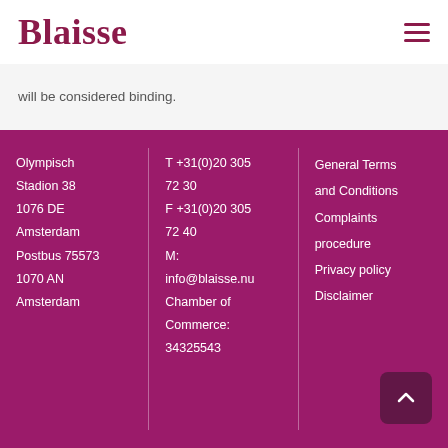Blaisse
will be considered binding.
Olympisch Stadion 38
1076 DE Amsterdam
Postbus 75573
1070 AN Amsterdam
T +31(0)20 305 72 30
F +31(0)20 305 72 40
M: info@blaisse.nu
Chamber of Commerce:
34325543
General Terms and Conditions
Complaints procedure
Privacy policy
Disclaimer